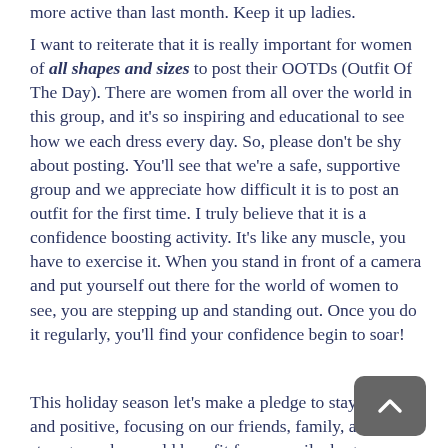more active than last month. Keep it up ladies.
I want to reiterate that it is really important for women of all shapes and sizes to post their OOTDs (Outfit Of The Day). There are women from all over the world in this group, and it's so inspiring and educational to see how we each dress every day. So, please don't be shy about posting. You'll see that we're a safe, supportive group and we appreciate how difficult it is to post an outfit for the first time. I truly believe that it is a confidence boosting activity. It's like any muscle, you have to exercise it. When you stand in front of a camera and put yourself out there for the world of women to see, you are stepping up and standing out. Once you do it regularly, you'll find your confidence begin to soar!
This holiday season let's make a pledge to stay present and positive, focusing on our friends, family, and strangers who would benefit from a smile, hug